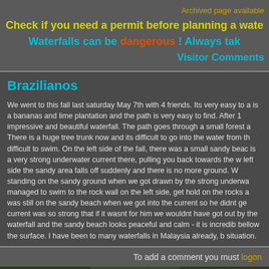Archived page available
Check if you need a permit before planning a waterfall visit
Waterfalls can be dangerous ! Always take care
Visitor Comments
Brazilianos
We went to this fall last saturday May 7th with 4 friends. Its very easy to access, there is a bananas and lime plantation and the path is very easy to find. After 1 minute walk, impressive and beautiful waterfall. The path goes through a small forest area. There is a huge tree trunk now and its difficult to go into the water from the left side. difficult to swim. On the left side of the fall, there was a small sandy beach and there is a very strong underwater current there, pulling you back towards the waterfall. On the left side the sandy area falls off suddenly and there is no more ground. We were standing on the sandy ground when we got drawn by the strong underwater current. We managed to swim to the rock wall on the left side, get hold on the rocks and exit. One friend was still on the sandy beach when we got into the current so he didnt get caught. The current was so strong that if it wasnt for him we wouldnt have got out by ourselves. Looking at the waterfall and the sandy beach looks peaceful and calm - it is incredibly dangerous bellow the surface. I have been to many waterfalls in Malaysia already, but never had such a situation.
To add a comment you must logon